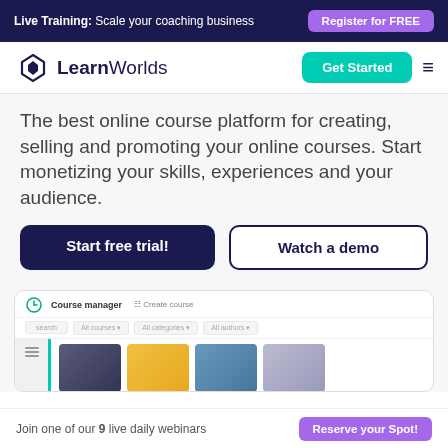Live Training: Scale your coaching business | Register for FREE
[Figure (logo): LearnWorlds logo with diamond icon]
The best online course platform for creating, selling and promoting your online courses. Start monetizing your skills, experiences and your audience.
[Figure (screenshot): LearnWorlds Course manager dashboard interface showing course cards]
Join one of our 9 live daily webinars | Reserve your Spot!